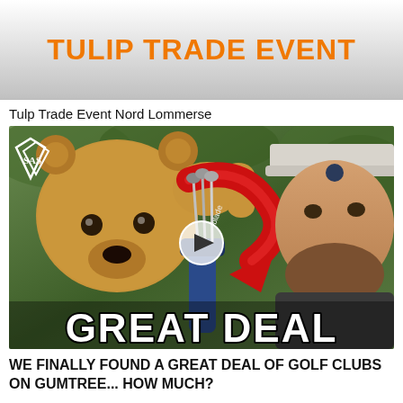TULIP TRADE EVENT
Tulp Trade Event Nord Lommerse
[Figure (screenshot): Video thumbnail showing a golf mascot bear and a man in a golf cap, with a red arrow, SAS logo, play button, and 'GREAT DEAL' text overlaid at the bottom.]
WE FINALLY FOUND A GREAT DEAL OF GOLF CLUBS ON GUMTREE... HOW MUCH?